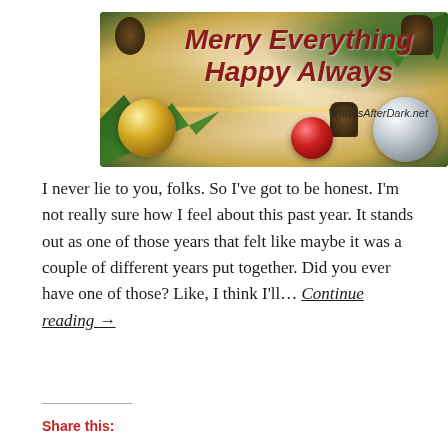[Figure (illustration): Christmas holiday banner with decorations including pine branches, pinecones, gold and silver ornaments, string lights, and red ornament. Text reads 'Merry Everything Happy Always' in dark red italic bold font. Website 'WritersAfterDark.net' shown at bottom right of the banner.]
I never lie to you, folks. So I've got to be honest. I'm not really sure how I feel about this past year. It stands out as one of those years that felt like maybe it was a couple of different years put together. Did you ever have one of those? Like, I think I'll... Continue reading →
Share this: